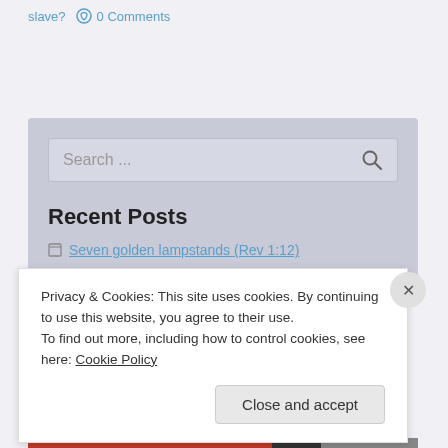slave?  ○ 0 Comments
[Figure (screenshot): Search bar with placeholder text 'Search ...' and a magnifying glass icon, on a gray background sidebar]
Recent Posts
Seven golden lampstands (Rev 1:12)
Privacy & Cookies: This site uses cookies. By continuing to use this website, you agree to their use.
To find out more, including how to control cookies, see here: Cookie Policy
Close and accept